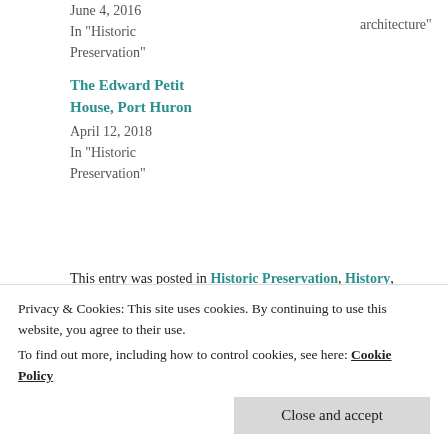June 4, 2016
In "Historic Preservation"
architecture"
The Edward Petit House, Port Huron
April 12, 2018
In "Historic Preservation"
This entry was posted in Historic Preservation, History, Michigan, Port Huron and tagged company towns, industrial towns, own vs rent, planned communities, utopian towns by Vicki. Bookmark the permalink.
Privacy & Cookies: This site uses cookies. By continuing to use this website, you agree to their use.
To find out more, including how to control cookies, see here: Cookie Policy
Close and accept